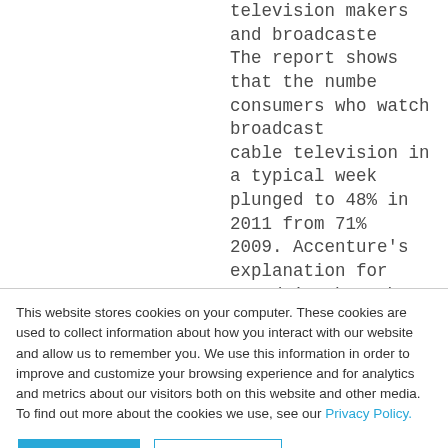television makers and broadcasters. The report shows that the number of consumers who watch broadcast cable television in a typical week plunged to 48% in 2011 from 71% in 2009. Accenture's explanation for this trend is that the TV is losing ground to other devices – smart phones, laptops and tablets – in the battle for consumer eyeballs. The survey does not conclude that everyone has suddenly stopped watching video
This website stores cookies on your computer. These cookies are used to collect information about how you interact with our website and allow us to remember you. We use this information in order to improve and customize your browsing experience and for analytics and metrics about our visitors both on this website and other media. To find out more about the cookies we use, see our Privacy Policy.